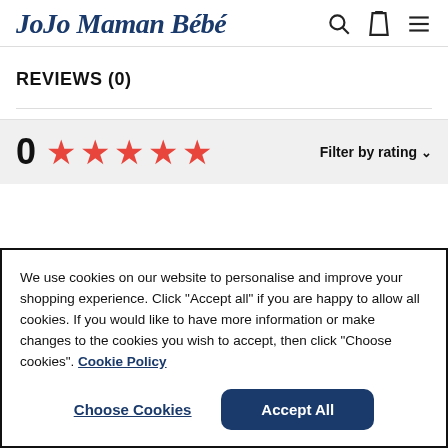JoJo Maman Bébé
REVIEWS (0)
0 ★★★★★  Filter by rating
We use cookies on our website to personalise and improve your shopping experience. Click "Accept all" if you are happy to allow all cookies. If you would like to have more information or make changes to the cookies you wish to accept, then click "Choose cookies". Cookie Policy
Choose Cookies   Accept All